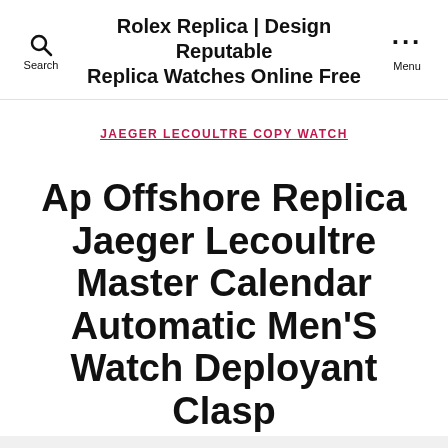Rolex Replica | Design Reputable Replica Watches Online Free
JAEGER LECOULTRE COPY WATCH
Ap Offshore Replica Jaeger Lecoultre Master Calendar Automatic Men'S Watch Deployant Clasp
By admin   May 21, 2022   No Comments